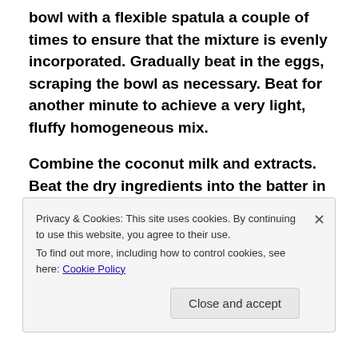bowl with a flexible spatula a couple of times to ensure that the mixture is evenly incorporated. Gradually beat in the eggs, scraping the bowl as necessary.  Beat for another minute to achieve a very light, fluffy homogeneous mix.
Combine the coconut milk and extracts.  Beat the dry ingredients into the batter in three parts alternately with the coconut milk, beginning and ending with the flour mixture.  Scrape the bowl with your spatula after each addition to ensure the ingredients are well-
Privacy & Cookies: This site uses cookies. By continuing to use this website, you agree to their use.
To find out more, including how to control cookies, see here: Cookie Policy